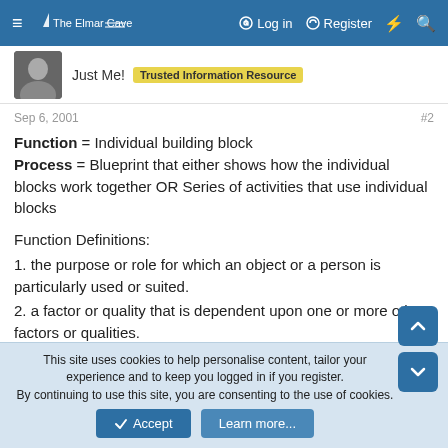≡  The Elmar Cave  ═══   Log in   Register   ⚡   🔍
Just Me!  Trusted Information Resource
Sep 6, 2001  #2
Function = Individual building block
Process = Blueprint that either shows how the individual blocks work together OR Series of activities that use individual blocks
Function Definitions:
1. the purpose or role for which an object or a person is particularly used or suited.
2. a factor or quality that is dependent upon one or more other factors or qualities.
Process Definitions:
This site uses cookies to help personalise content, tailor your experience and to keep you logged in if you register.
By continuing to use this site, you are consenting to the use of cookies.